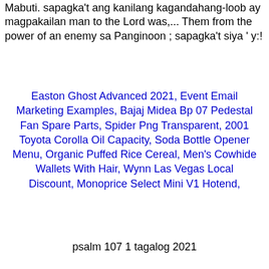Mabuti. sapagka't ang kanilang kagandahang-loob ay magpakailan man to the Lord was,... Them from the power of an enemy sa Panginoon ; sapagka't siya ' y:!
Easton Ghost Advanced 2021, Event Email Marketing Examples, Bajaj Midea Bp 07 Pedestal Fan Spare Parts, Spider Png Transparent, 2001 Toyota Corolla Oil Capacity, Soda Bottle Opener Menu, Organic Puffed Rice Cereal, Men's Cowhide Wallets With Hair, Wynn Las Vegas Local Discount, Monoprice Select Mini V1 Hotend,
psalm 107 1 tagalog 2021